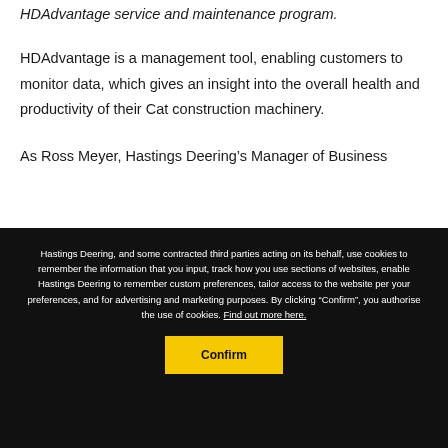HDAdvantage service and maintenance program.
HDAdvantage is a management tool, enabling customers to monitor data, which gives an insight into the overall health and productivity of their Cat construction machinery.
As Ross Meyer, Hastings Deering’s Manager of Business
Hastings Deering, and some contracted third parties acting on its behalf, use cookies to remember the information that you input, track how you use sections of websites, enable Hastings Deering to remember custom preferences, tailor access to the website per your preferences, and for advertising and marketing purposes. By clicking “Confirm”, you authorise the use of cookies. Find out more here.
Confirm